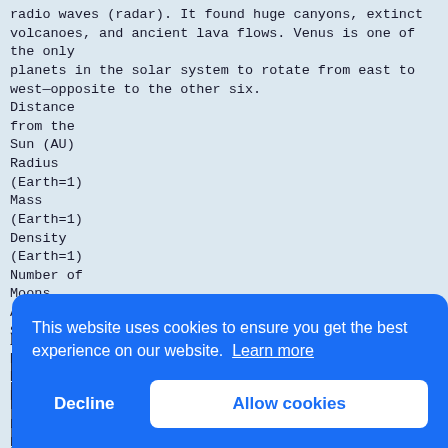radio waves (radar). It found huge canyons, extinct volcanoes, and ancient lava flows. Venus is one of the only
planets in the solar system to rotate from east to west—opposite to the other six.
Distance
from the
Sun (AU)
Radius
(Earth=1)
Mass
(Earth=1)
Density
(Earth=1)
Number of
Moons
Average
Surface
Temp. (°C)
Period of
Rotation
Number of
Rotations per
Earth Year
Period of
Orbit (in
Revolutions)
0.72
0.95
0.86
0.96
0
[Figure (screenshot): Cookie consent banner overlay in blue, with text 'This website uses cookies to ensure you get the best experience on our website. Learn more', and two buttons: 'Decline' (white text) and 'Allow cookies' (blue text on white background).]